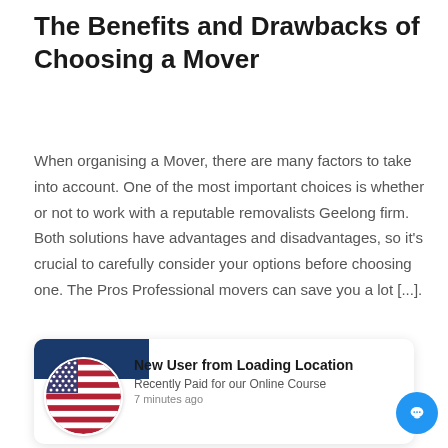The Benefits and Drawbacks of Choosing a Mover
When organising a Mover, there are many factors to take into account. One of the most important choices is whether or not to work with a reputable removalists Geelong firm. Both solutions have advantages and disadvantages, so it's crucial to carefully consider your options before choosing one. The Pros Professional movers can save you a lot [...].
READ MORE ›
[Figure (infographic): Notification widget showing a US flag icon, blue header bar, and text: 'New User from Loading Location', 'Recently Paid for our Online Course', '7 minutes ago'. A blue chat button is in the bottom right corner.]